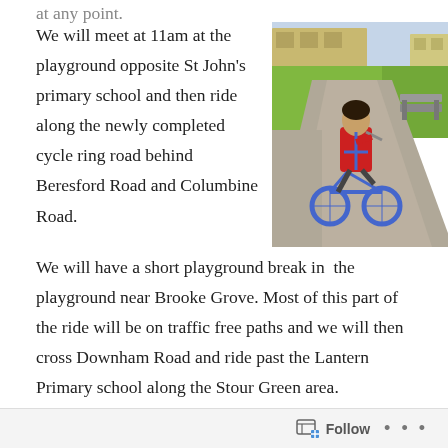at any point.
We will meet at 11am at the playground opposite St John's primary school and then ride along the newly completed cycle ring road behind Beresford Road and Columbine Road.
[Figure (photo): A child in a red jacket riding a blue bicycle on a paved path in a park, with a bench, green grass, and buildings in the background.]
We will have a short playground break in  the playground near Brooke Grove. Most of this part of the ride will be on traffic free paths and we will then cross Downham Road and ride past the Lantern Primary school along the Stour Green area.
Follow ...